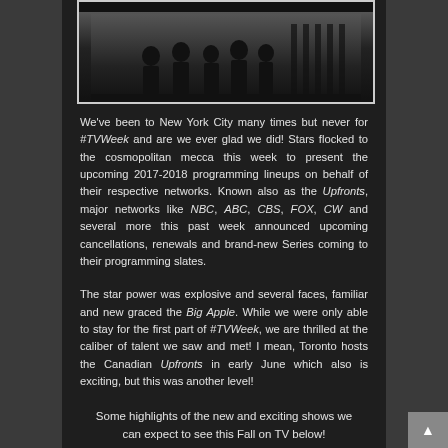[Figure (photo): Black and white photo of people/silhouettes standing together in what appears to be an indoor setting with vertical bars or railings visible in the background]
We've been to New York City many times but never for #TVWeek and are we ever glad we did! Stars flocked to the cosmopolitan mecca this week to present the upcoming 2017-2018 programming lineups on behalf of their respective networks. Known also as the Upfronts, major networks like NBC, ABC, CBS, FOX, CW and several more this past week announced upcoming cancellations, renewals and brand-new Series coming to their programming slates.
The star power was explosive and several faces, familiar and new graced the Big Apple. While we were only able to stay for the first part of #TVWeek, we are thrilled at the caliber of talent we saw and met! I mean, Toronto hosts the Canadian Upfronts in early June which also is exciting, but this was another level!
Some highlights of the new and exciting shows we can expect to see this Fall on TV below!
SPLITTING UP TOGETHER (ABC) – stars Oliver